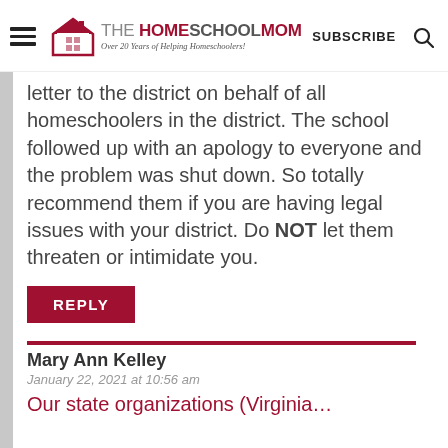THE HOMESCHOOL MOM — Over 20 Years of Helping Homeschoolers! | SUBSCRIBE | Search
letter to the district on behalf of all homeschoolers in the district. The school followed up with an apology to everyone and the problem was shut down. So totally recommend them if you are having legal issues with your district. Do NOT let them threaten or intimidate you.
REPLY
Mary Ann Kelley
January 22, 2021 at 10:56 am
Our state organizations (Virginia…